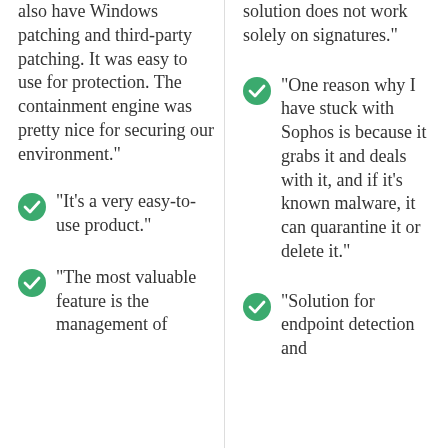also have Windows patching and third-party patching. It was easy to use for protection. The containment engine was pretty nice for securing our environment."
"It's a very easy-to-use product."
"The most valuable feature is the management of
solution does not work solely on signatures."
"One reason why I have stuck with Sophos is because it grabs it and deals with it, and if it's known malware, it can quarantine it or delete it."
"Solution for endpoint detection and